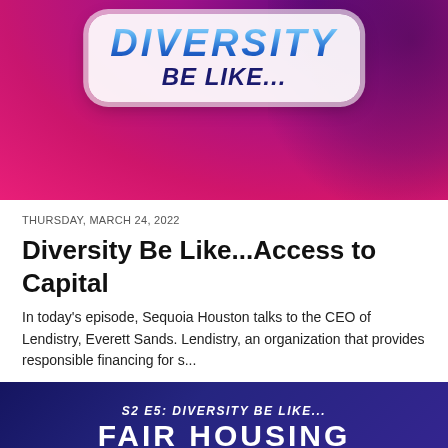[Figure (illustration): Podcast cover art with purple/pink gradient background showing 'DIVERSITY BE LIKE...' text in stylized sticker format with blue gradient letters]
THURSDAY, MARCH 24, 2022
Diversity Be Like...Access to Capital
In today’s episode, Sequoia Houston talks to the CEO of Lendistry, Everett Sands. Lendistry, an organization that provides responsible financing for s...
[Figure (illustration): Dark navy blue podcast cover for S2 E5: DIVERSITY BE LIKE... FAIR HOUSING]